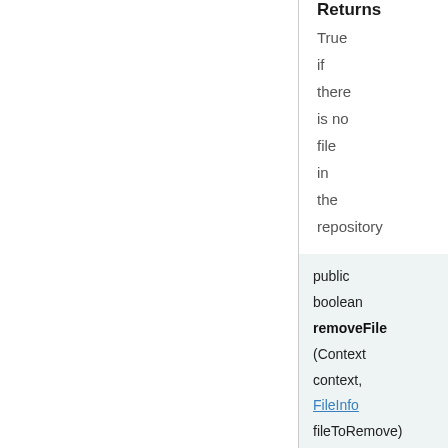Returns
True if there is no file in the repository
public boolean removeFile (Context context, FileInfo fileToRemove)
Removes the